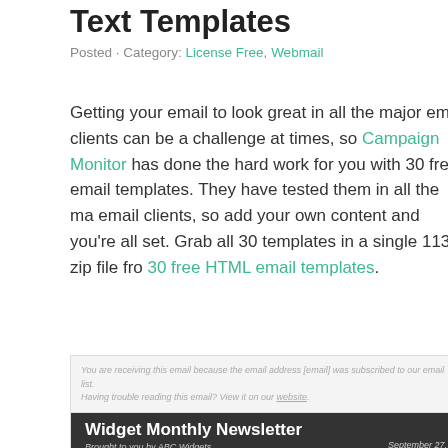HTML Email Templates and Plain Text Templates
Posted · Category: License Free, Webmail
Getting your email to look great in all the major email clients can be a challenge at times, so Campaign Monitor has done the hard work for you with 30 free email templates. They have tested them in all the major email clients, so add your own content and you're all set. Grab all 30 templates in a single 113k zip file from 30 free HTML email templates.
[Figure (screenshot): Screenshot of an email template preview showing a dark header bar with 'Widget Monthly Newsletter' title, 'Brought to you by ABC Widgets' subtitle, and 'September 27,' date, with a light grey top bar containing small italic text about email subscription.]